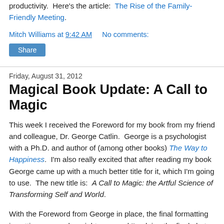productivity.  Here's the article:  The Rise of the Family-Friendly Meeting.
Mitch Williams at 9:42 AM    No comments:
Share
Friday, August 31, 2012
Magical Book Update: A Call to Magic
This week I received the Foreword for my book from my friend and colleague, Dr. George Catlin.  George is a psychologist with a Ph.D. and author of (among other books) The Way to Happiness.  I'm also really excited that after reading my book George came up with a much better title for it, which I'm going to use.  The new title is:  A Call to Magic: the Artful Science of Transforming Self and World.
With the Foreword from George in place, the final formatting is getting wrapped up right now, and I'm doing the final photo shoot for the cover this weekend.